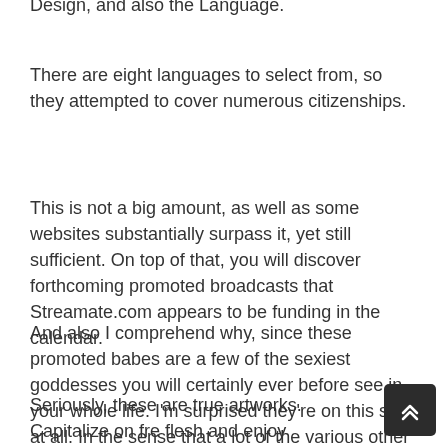Design, and also the Language.
There are eight languages to select from, so they attempted to cover numerous citizenships.
This is not a big amount, as well as some websites substantially surpass it, yet still sufficient. On top of that, you will discover forthcoming promoted broadcasts that Streamate.com appears to be funding in the calendar.
And also I comprehend why, since these promoted babes are a few of the sexiest goddesses you will certainly ever before see in your whole life. I'm surprised they're on this site at all. In the sense that a lot of the various other sluts below can not also resemble the degree of these babes.
Seriously, these are true artworks. Capitalize on free flesh and enjoy inexperienced cam ladies So, the